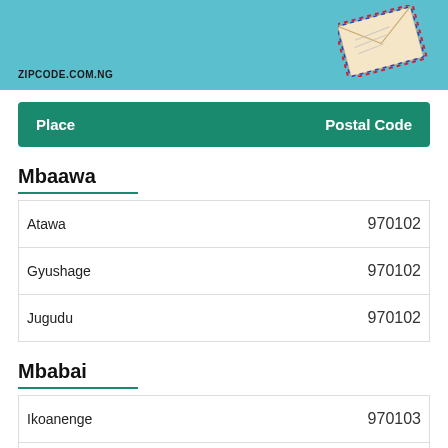[Figure (illustration): Banner with teal/light-blue background, ZIPCODE.COM.NG text at bottom left, and a decorative envelope illustration at top right]
| Place | Postal Code |
| --- | --- |
Mbaawa
| Place | Postal Code |
| --- | --- |
| Atawa | 970102 |
| Gyushage | 970102 |
| Jugudu | 970102 |
Mbabai
| Place | Postal Code |
| --- | --- |
| Ikoanenge | 970103 |